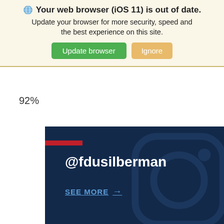🌐 Your web browser (iOS 11) is out of date. Update your browser for more security, speed and the best experience on this site. [Update browser] [Ignore]
92%
[Figure (screenshot): Dark navy Instagram promotional block with a red horizontal bar accent, showing the handle @fdusilberman and a 'SEE MORE →' link, with a faint Instagram logo icon in the background.]